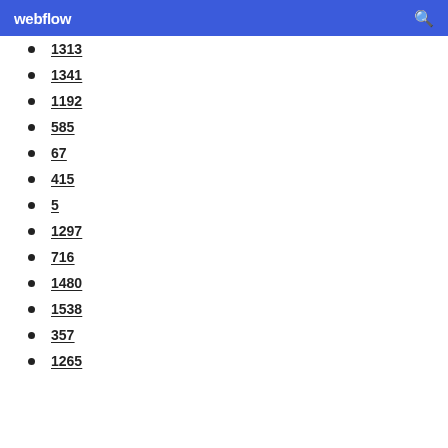webflow
1313
1341
1192
585
67
415
5
1297
716
1480
1538
357
1265